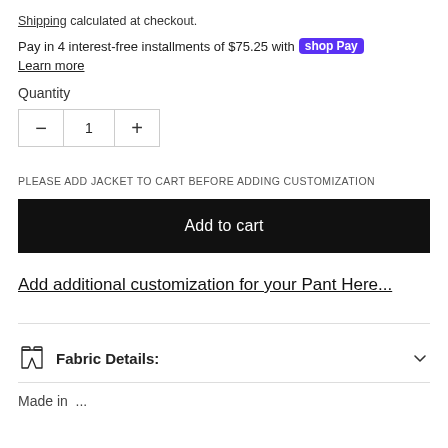Shipping calculated at checkout.
Pay in 4 interest-free installments of $75.25 with shop Pay  Learn more
Quantity
1
PLEASE ADD JACKET TO CART BEFORE ADDING CUSTOMIZATION
Add to cart
Add additional customization for your Pant Here...
Fabric Details:
Made in ...